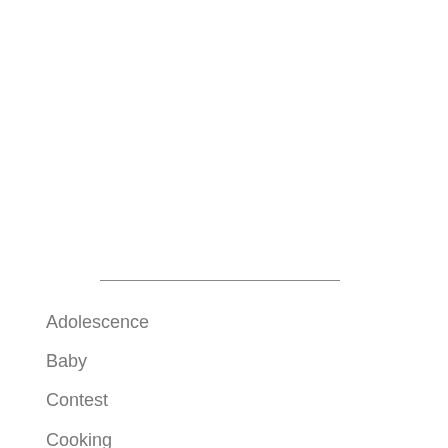Adolescence
Baby
Contest
Cooking
Discipline